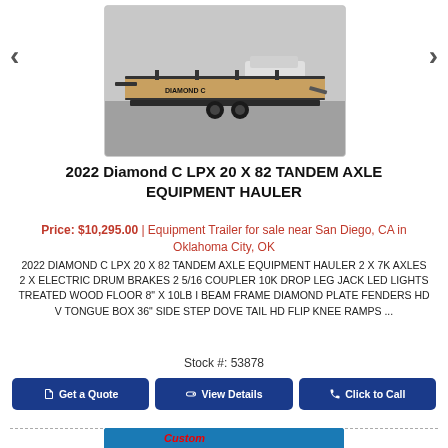[Figure (photo): Photo of a 2022 Diamond C LPX 20 X 82 Tandem Axle Equipment Hauler trailer in a parking lot]
2022 Diamond C LPX 20 X 82 TANDEM AXLE EQUIPMENT HAULER
Price: $10,295.00 | Equipment Trailer for sale near San Diego, CA in Oklahoma City, OK
2022 DIAMOND C LPX 20 X 82 TANDEM AXLE EQUIPMENT HAULER 2 X 7K AXLES 2 X ELECTRIC DRUM BRAKES 2 5/16 COUPLER 10K DROP LEG JACK LED LIGHTS TREATED WOOD FLOOR 8" X 10LB I BEAM FRAME DIAMOND PLATE FENDERS HD V TONGUE BOX 36" SIDE STEP DOVE TAIL HD FLIP KNEE RAMPS ...
Stock #: 53878
Get a Quote
View Details
Click to Call
[Figure (photo): Partial bottom image showing blue background with red text, likely a dealer logo]